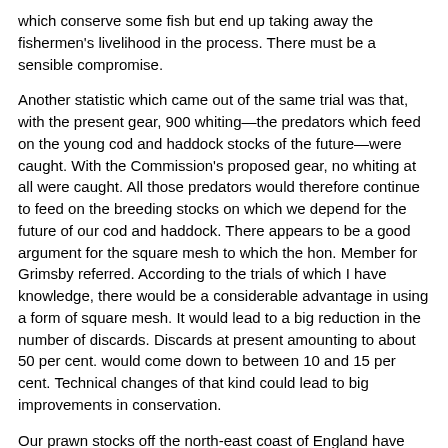which conserve some fish but end up taking away the fishermen's livelihood in the process. There must be a sensible compromise.
Another statistic which came out of the same trial was that, with the present gear, 900 whiting—the predators which feed on the young cod and haddock stocks of the future—were caught. With the Commission's proposed gear, no whiting at all were caught. All those predators would therefore continue to feed on the breeding stocks on which we depend for the future of our cod and haddock. There appears to be a good argument for the square mesh to which the hon. Member for Grimsby referred. According to the trials of which I have knowledge, there would be a considerable advantage in using a form of square mesh. It would lead to a big reduction in the number of discards. Discards at present amounting to about 50 per cent. would come down to between 10 and 15 per cent. Technical changes of that kind could lead to big improvements in conservation.
Our prawn stocks off the north-east coast of England have been threatened by the use of twin trawls. Our local fishermen believe that such intensive fishing would lead to the whole stock of prawns, so important to us in the north-east, being endangered. Fishermen in North Shields and elsewhere in the north-east have, to their credit, imposed a voluntary ban on such twin trawling. It has proved to be effective, but there is great concern that because of the pressure on stocks